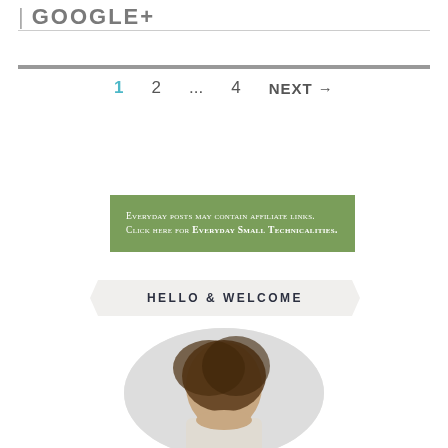| GOOGLE+
1  2  ...  4  NEXT →
Everyday posts may contain affiliate links. Click here for Everyday Small Technicalities.
HELLO & WELCOME
[Figure (photo): Circular cropped portrait photo of a woman with long brown hair, partially visible from top of frame]